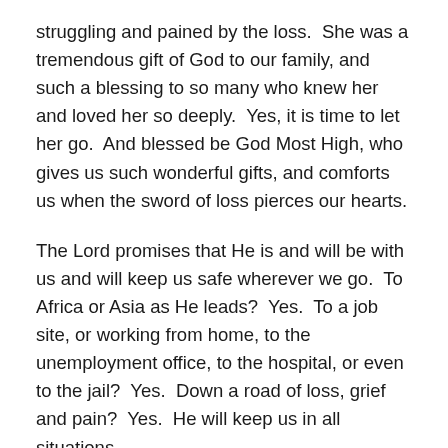struggling and pained by the loss. She was a tremendous gift of God to our family, and such a blessing to so many who knew her and loved her so deeply. Yes, it is time to let her go. And blessed be God Most High, who gives us such wonderful gifts, and comforts us when the sword of loss pierces our hearts.
The Lord promises that He is and will be with us and will keep us safe wherever we go. To Africa or Asia as He leads? Yes. To a job site, or working from home, to the unemployment office, to the hospital, or even to the jail? Yes. Down a road of loss, grief and pain? Yes. He will keep us in all situations.
God has promised that he will never leave us nor forsake us, even though at times we have not lived up to His holy standards. In fact, no one besides Jesus has